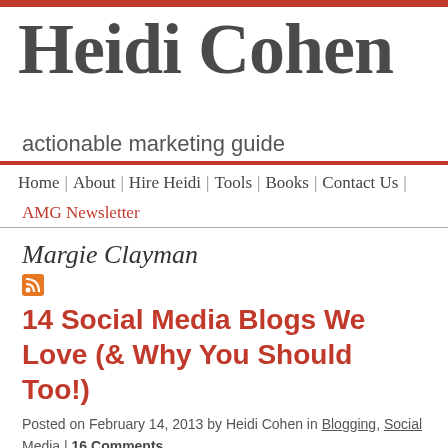Heidi Cohen
actionable marketing guide
Home | About | Hire Heidi | Tools | Books | Contact Us |
AMG Newsletter
Margie Clayman
14 Social Media Blogs We Love (& Why You Should Too!)
Posted on February 14, 2013 by Heidi Cohen in Blogging, Social Media | 16 Comments
It's Valentine's Day